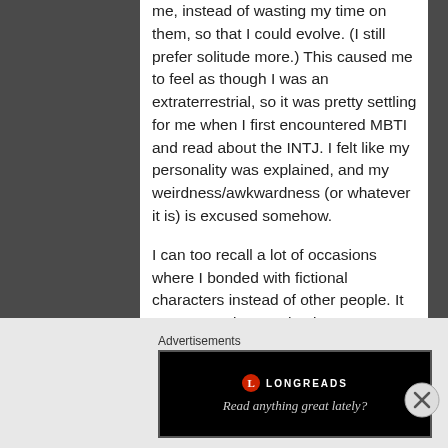me, instead of wasting my time on them, so that I could evolve. (I still prefer solitude more.) This caused me to feel as though I was an extraterrestrial, so it was pretty settling for me when I first encountered MBTI and read about the INTJ. I felt like my personality was explained, and my weirdness/awkwardness (or whatever it is) is excused somehow.

I can too recall a lot of occasions where I bonded with fictional characters instead of other people. It never grew into me having an imaginary friend or anything, but I felt less alone, and still having time for whatever I wanted. I knew I won't have to treat them kindly.
Advertisements
[Figure (other): Longreads advertisement banner — black background with Longreads logo (red circle with L) and tagline 'Read anything great lately?']